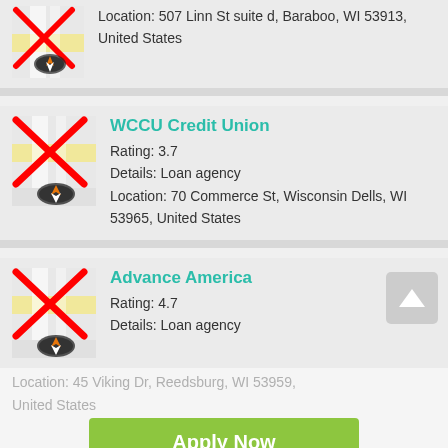Location: 507 Linn St suite d, Baraboo, WI 53913, United States
WCCU Credit Union
Rating: 3.7
Details: Loan agency
Location: 70 Commerce St, Wisconsin Dells, WI 53965, United States
Advance America
Rating: 4.7
Details: Loan agency
Location: 45 Viking Dr, Reedsburg, WI 53959, United States
Apply Now
Applying does NOT affect your credit score!
No credit check to apply.
Rating: 2.1